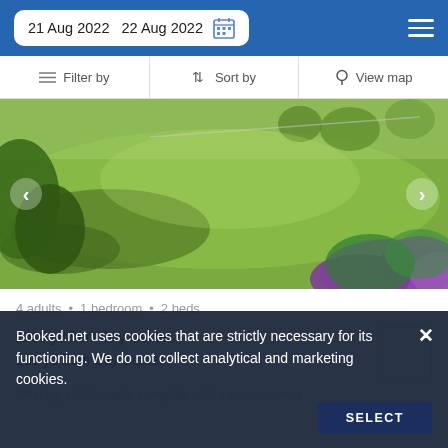21 Aug 2022  22 Aug 2022
Filter by  |  Sort by  |  View map
[Figure (photo): Outdoor garden photo showing green lawn with tree shadows and purple flowering shrubs in foreground]
4 adults · 1 bedroom · 2 beds
1500 yd from City Center
200 yd from City Center
Offering a kitchenette complete with a microwave, a
Booked.net uses cookies that are strictly necessary for its functioning. We do not collect analytical and marketing cookies.